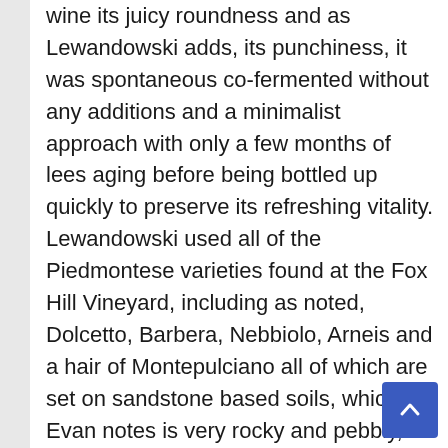wine its juicy roundness and as Lewandowski adds, its punchiness, it was spontaneous co-fermented without any additions and a minimalist approach with only a few months of lees aging before being bottled up quickly to preserve its refreshing vitality. Lewandowski used all of the Piedmontese varieties found at the Fox Hill Vineyard, including as noted, Dolcetto, Barbera, Nebbiolo, Arneis and a hair of Montepulciano all of which are set on sandstone based soils, which Evan notes is very rocky and pebbly, with a large amount of quartz, all of which helps this site produce exceptional grapes with a mineral tone and ripe flavors, which shows here in an easy and enjoyable way. If you want to explore natty California or Glou Glou wines these